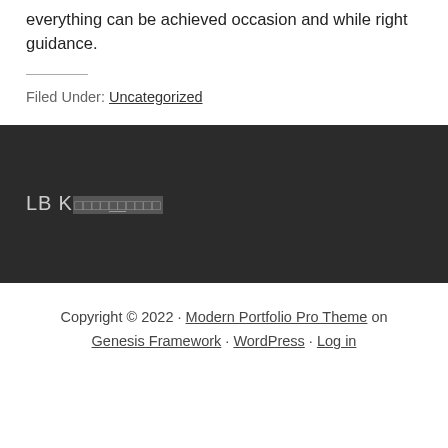everything can be achieved occasion and while right guidance.
Filed Under: Uncategorized
LB K□□□□□□□□□□
Copyright © 2022 · Modern Portfolio Pro Theme on Genesis Framework · WordPress · Log in